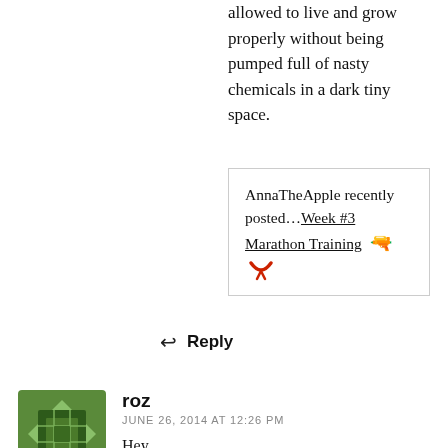allowed to live and grow properly without being pumped full of nasty chemicals in a dark tiny space.
AnnaTheApple recently posted…Week #3 Marathon Training 🐦
Reply
roz
JUNE 26, 2014 AT 12:26 PM
Hey
I'm totally with you on the flavour dust ...have you tried garbanzo roasted chickpeas from holland and barrett? Not only are they yummy, but they are fab for flavour dust!!
X